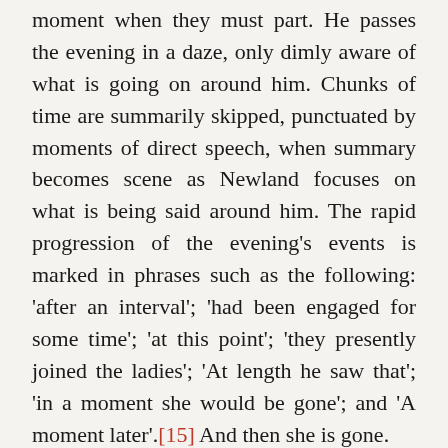moment when they must part.  He passes the evening in a daze, only dimly aware of what is going on around him.  Chunks of time are summarily skipped, punctuated by moments of direct speech, when summary becomes scene as Newland focuses on what is being said around him.  The rapid progression of the evening's events is marked in phrases such as the following: 'after an interval'; 'had been engaged for some time'; 'at this point'; 'they presently joined the ladies'; 'At length he saw that'; 'in a moment she would be gone';  and 'A moment later'.[15]  And then she is gone.
Genette's third and final category is that of frequency, concerning the number of times an event is related: